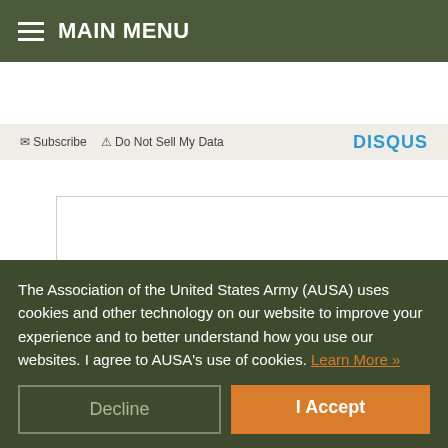MAIN MENU
Subscribe   Do Not Sell My Data   DISQUS
[Figure (other): White empty content area box, part of a Disqus comment section]
Want a Better Student Loan Experience?
The Association of the United States Army (AUSA) uses cookies and other technology on our website to improve your experience and to better understand how you use our websites. I agree to AUSA's use of cookies. Learn More »
Decline   I Accept